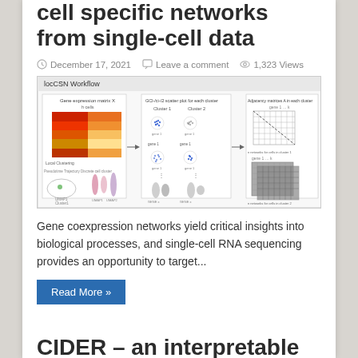cell specific networks from single-cell data
December 17, 2021   Leave a comment   1,323 Views
[Figure (schematic): locCSN Workflow diagram showing gene expression matrix, GCI scatter plots for clusters, adjacency matrices, and local clustering with pseudotime trajectory]
Gene coexpression networks yield critical insights into biological processes, and single-cell RNA sequencing provides an opportunity to target...
Read More »
CIDER – an interpretable meta-clustering framework for...